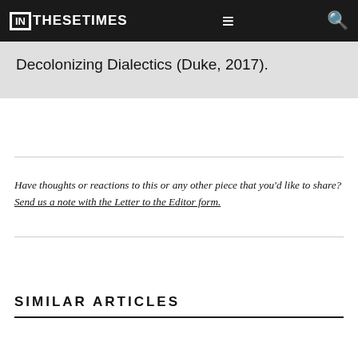IN THESE TIMES
Decolonizing Dialectics (Duke, 2017).
Have thoughts or reactions to this or any other piece that you'd like to share? Send us a note with the Letter to the Editor form.
SIMILAR ARTICLES